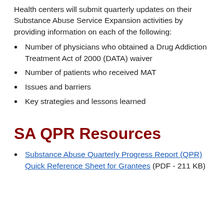Health centers will submit quarterly updates on their Substance Abuse Service Expansion activities by providing information on each of the following:
Number of physicians who obtained a Drug Addiction Treatment Act of 2000 (DATA) waiver
Number of patients who received MAT
Issues and barriers
Key strategies and lessons learned
SA QPR Resources
Substance Abuse Quarterly Progress Report (QPR) Quick Reference Sheet for Grantees (PDF - 211 KB)